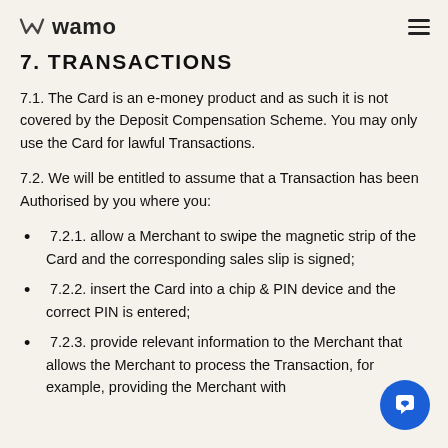wamo
7. TRANSACTIONS
7.1. The Card is an e-money product and as such it is not covered by the Deposit Compensation Scheme. You may only use the Card for lawful Transactions.
7.2. We will be entitled to assume that a Transaction has been Authorised by you where you:
7.2.1. allow a Merchant to swipe the magnetic strip of the Card and the corresponding sales slip is signed;
7.2.2. insert the Card into a chip & PIN device and the correct PIN is entered;
7.2.3. provide relevant information to the Merchant that allows the Merchant to process the Transaction, for example, providing the Merchant with